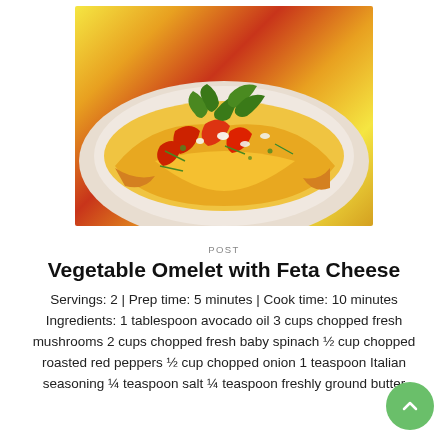[Figure (photo): A vegetable omelet with feta cheese, red peppers, mushrooms, and fresh arugula on a white plate]
POST
Vegetable Omelet with Feta Cheese
Servings: 2 | Prep time: 5 minutes | Cook time: 10 minutes Ingredients: 1 tablespoon avocado oil 3 cups chopped fresh mushrooms 2 cups chopped fresh baby spinach ½ cup chopped roasted red peppers ½ cup chopped onion 1 teaspoon Italian seasoning ¼ teaspoon salt ¼ teaspoon freshly ground butter